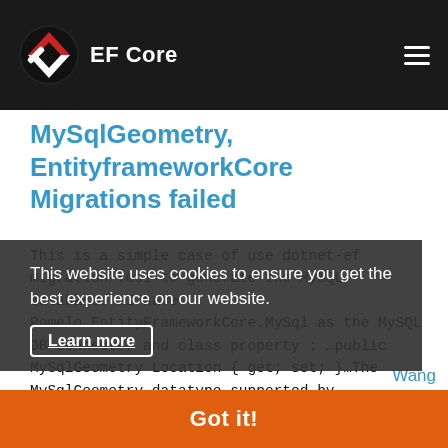EF Core
MySqlGeometry, EntityframeworkCore Migrations failed
This is a simple case of use dotnet-ef migration tool to generate the MySQL database. ...I have Pomelo.EntityFrameworkCore.MySql as the MySQL DB connector and class property: ...public MySqlGeometry Location { get; set; }...The MySqlGeometry datatype supported by MySqlDataTypes.Some with Pomelo package. ...When the migration operations-site.
entity-framework-core
geometry
mysql
pomelo-entityframeworkcore-mysql
This website uses cookies to ensure you get the best experience on our website.
Learn more
Got it!
Wang